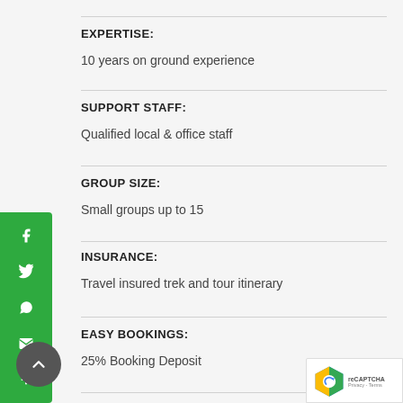EXPERTISE:
10 years on ground experience
SUPPORT STAFF:
Qualified local & office staff
GROUP SIZE:
Small groups up to 15
INSURANCE:
Travel insured trek and tour itinerary
EASY BOOKINGS:
25% Booking Deposit